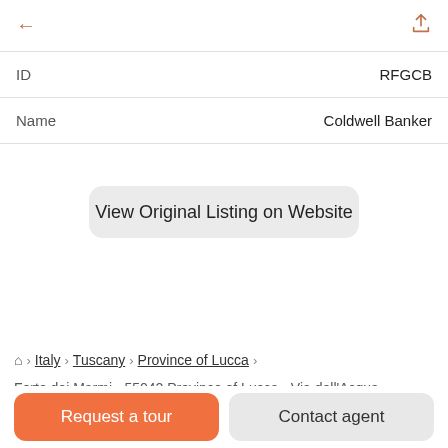[Figure (screenshot): Mobile app navigation bar with back arrow (left) and share icon (right)]
| ID | RFGCB |
| Name | Coldwell Banker |
View Original Listing on Website
🏠 > Italy > Tuscany > Province of Lucca >
Forte dei Marmi > 55042 Province of Lucca > Via dell'Acqua >
Request a tour
Contact agent